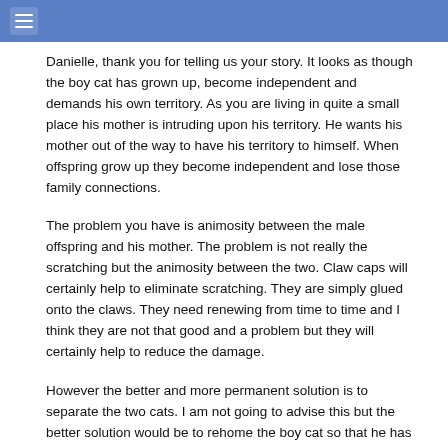≡
Danielle, thank you for telling us your story. It looks as though the boy cat has grown up, become independent and demands his own territory. As you are living in quite a small place his mother is intruding upon his territory. He wants his mother out of the way to have his territory to himself. When offspring grow up they become independent and lose those family connections.
The problem you have is animosity between the male offspring and his mother. The problem is not really the scratching but the animosity between the two. Claw caps will certainly help to eliminate scratching. They are simply glued onto the claws. They need renewing from time to time and I think they are not that good and a problem but they will certainly help to reduce the damage.
However the better and more permanent solution is to separate the two cats. I am not going to advise this but the better solution would be to rehome the boy cat so that he has his own territory. Or, as you say, get a bigger